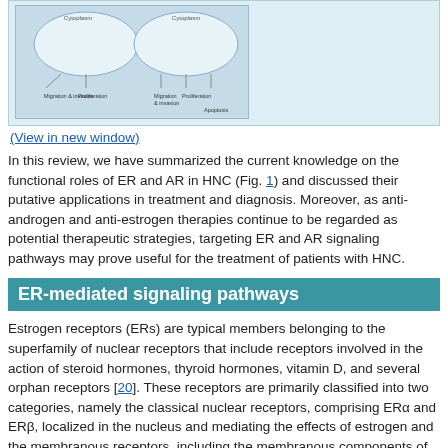[Figure (illustration): A schematic diagram showing ER and AR signaling pathways with cytoplasm labels, migration & invasion, proliferation, apoptosis processes depicted with arrows.]
(View in new window)
In this review, we have summarized the current knowledge on the functional roles of ER and AR in HNC (Fig. 1) and discussed their putative applications in treatment and diagnosis. Moreover, as anti-androgen and anti-estrogen therapies continue to be regarded as potential therapeutic strategies, targeting ER and AR signaling pathways may prove useful for the treatment of patients with HNC.
ER-mediated signaling pathways
Estrogen receptors (ERs) are typical members belonging to the superfamily of nuclear receptors that include receptors involved in the action of steroid hormones, thyroid hormones, vitamin D, and several orphan receptors [20]. These receptors are primarily classified into two categories, namely the classical nuclear receptors, comprising ERα and ERβ, localized in the nucleus and mediating the effects of estrogen and the membranous receptors, including the membranous components of the classical nuclear receptor and the G protein-coupled estrogen receptor 1 (GPER1) [21, 22].
Estrogen either enters the cell or is synthesized within. It binds with the nuclear ER, thereby forming an ER homodimer or heterodimer [21]. The activated ER interacts with the DNA enhancer estrogen response element